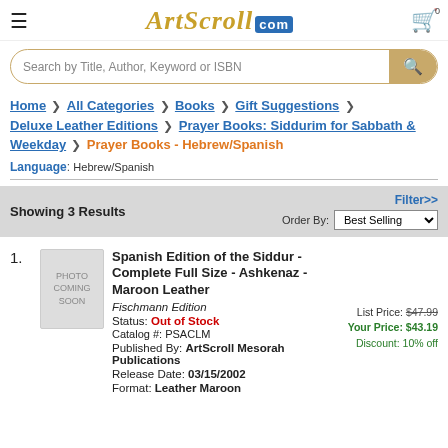ArtScroll.com
Search by Title, Author, Keyword or ISBN
Home > All Categories > Books > Gift Suggestions > Deluxe Leather Editions > Prayer Books: Siddurim for Sabbath & Weekday > Prayer Books - Hebrew/Spanish
Language: Hebrew/Spanish
Showing 3 Results | Filter>> | Order By: Best Selling
1. Spanish Edition of the Siddur - Complete Full Size - Ashkenaz - Maroon Leather | Fischmann Edition | Status: Out of Stock | Catalog #: PSACLM | Published By: ArtScroll Mesorah Publications | Release Date: 03/15/2002 | Format: Leather Maroon | List Price: $47.99 | Your Price: $43.19 | Discount: 10% off